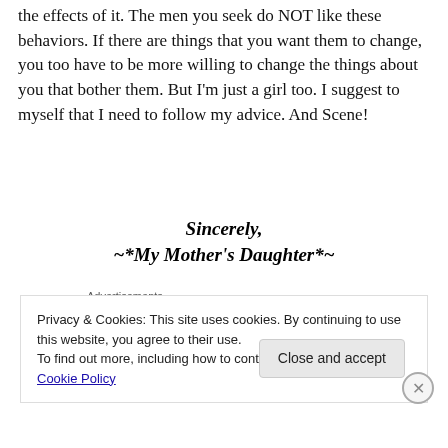the effects of it. The men you seek do NOT like these behaviors. If there are things that you want them to change, you too have to be more willing to change the things about you that bother them. But I'm just a girl too. I suggest to myself that I need to follow my advice. And Scene!
Sincerely,
~*My Mother's Daughter*~
Advertisements
[Figure (illustration): Colorful gradient banner ad with playful doodles and illustrations on pink-to-purple background]
Privacy & Cookies: This site uses cookies. By continuing to use this website, you agree to their use.
To find out more, including how to control cookies, see here: Cookie Policy
Close and accept